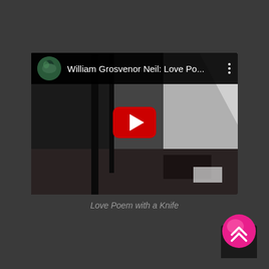[Figure (screenshot): YouTube video thumbnail showing 'William Grosvenor Neil: Love Po...' with a dark room scene and YouTube play button overlay. Avatar of a person in the top left, three-dot menu on the right.]
Love Poem with a Knife
[Figure (logo): Pink/magenta circular app icon with upward-pointing chevrons (carets), dark rectangular bar below]